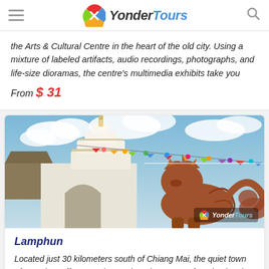YonderTours
the Arts & Cultural Centre in the heart of the old city. Using a mixture of labeled artifacts, audio recordings, photographs, and life-size dioramas, the centre's multimedia exhibits take you
From $ 31
[Figure (photo): Thai temple with white stupa and ornate brown mythical creature statue, colorful hanging decorations, blue sky with clouds. YonderTours watermark in bottom right.]
Lamphun
Located just 30 kilometers south of Chiang Mai, the quiet town of Lamphun offers travelers a charming escape from busier city